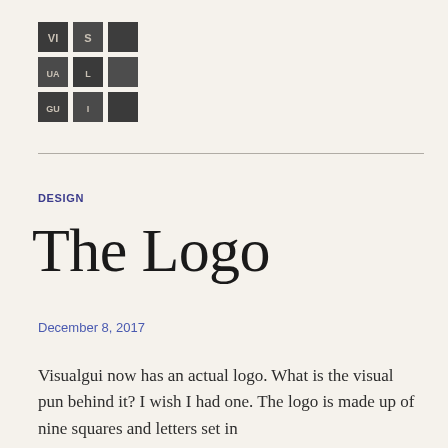[Figure (logo): Visualgui logo: a 3x3 grid of dark gray squares with letters VIS UAL GUI set in white/light text within the squares]
DESIGN
The Logo
December 8, 2017
Visualgui now has an actual logo. What is the visual pun behind it? I wish I had one. The logo is made up of nine squares and letters set in